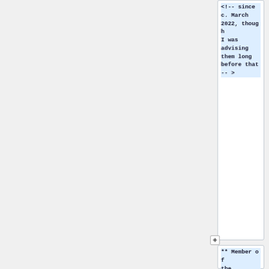<!-- since c. March 2022, though I was advising them long before that -- >
** Member of the [https://freejournals.org/fjn-organization/governance/ Advisory Committee] of the [https://freejournals.org/ Free